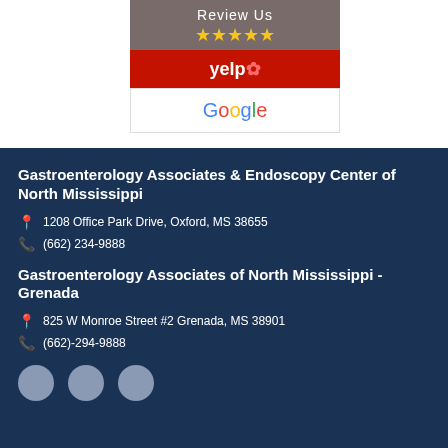[Figure (infographic): Review Us widget with 5 yellow stars on grey background, Yelp logo on red background, Google logo on white background]
Gastroenterology Associates & Endoscopy Center of North Mississippi
1208 Office Park Drive, Oxford, MS 38655
(662) 234-9888
Gastroenterology Associates of North Mississippi - Grenada
825 W Monroe Street #2 Grenada, MS 38901
(662)-294-9888
[Figure (infographic): Social media icons row: Facebook, phone/doctor icon, Twitter]